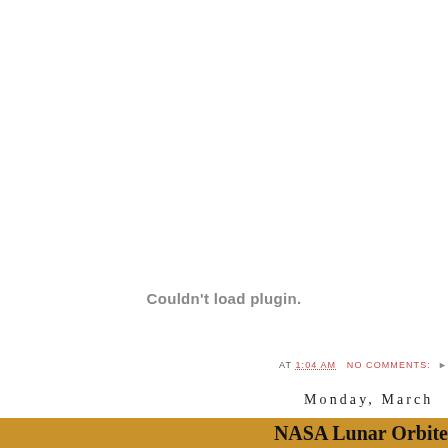Couldn't load plugin.
AT 1:04 AM  NO COMMENTS:
Monday, March
NASA Lunar Orbite